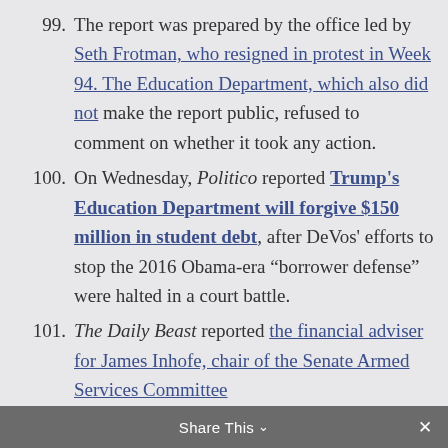99. The report was prepared by the office led by Seth Frotman, who resigned in protest in Week 94. The Education Department, which also did not make the report public, refused to comment on whether it took any action.
100. On Wednesday, Politico reported Trump's Education Department will forgive $150 million in student debt, after DeVos' efforts to stop the 2016 Obama-era “borrower defense” were halted in a court battle.
101. The Daily Beast reported the financial adviser for James Inhofe, chair of the Senate Armed Services Committee
Share This